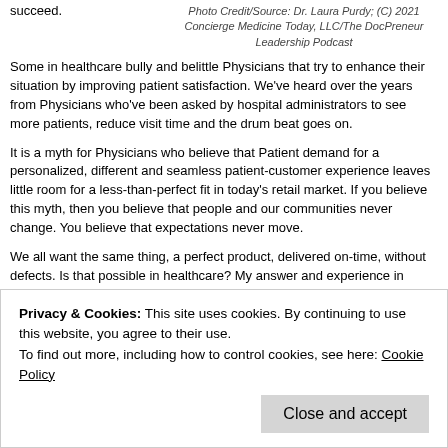succeed.
Photo Credit/Source: Dr. Laura Purdy; (C) 2021 Concierge Medicine Today, LLC/The DocPreneur Leadership Podcast
Some in healthcare bully and belittle Physicians that try to enhance their situation by improving patient satisfaction. We've heard over the years from Physicians who've been asked by hospital administrators to see more patients, reduce visit time and the drum beat goes on.
It is a myth for Physicians who believe that Patient demand for a personalized, different and seamless patient-customer experience leaves little room for a less-than-perfect fit in today's retail market. If you believe this myth, then you believe that people and our communities never change. You believe that expectations never move.
We all want the same thing, a perfect product, delivered on-time, without defects. Is that possible in healthcare? My answer and experience in talking to Physicians and Patients over the years would tell me 'No.' Why? Because we're all human. We all make mistakes.
Privacy & Cookies: This site uses cookies. By continuing to use this website, you agree to their use. To find out more, including how to control cookies, see here: Cookie Policy